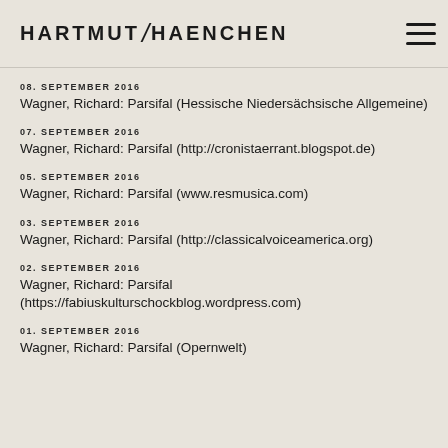HARTMUT / HAENCHEN
08. SEPTEMBER 2016
Wagner, Richard: Parsifal (Hessische Niedersächsische Allgemeine)
07. SEPTEMBER 2016
Wagner, Richard: Parsifal (http://cronistaerrant.blogspot.de)
05. SEPTEMBER 2016
Wagner, Richard: Parsifal (www.resmusica.com)
03. SEPTEMBER 2016
Wagner, Richard: Parsifal (http://classicalvoiceamerica.org)
02. SEPTEMBER 2016
Wagner, Richard: Parsifal (https://fabiuskulturschockblog.wordpress.com)
01. SEPTEMBER 2016
Wagner, Richard: Parsifal (Opernwelt)